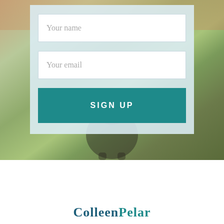[Figure (photo): Outdoor background photo showing green grass, yellow flowers, and a dark-colored dog (back view) in the lower center. Colors are muted/faded with warm browns in upper area and greens below.]
Your name
Your email
SIGN UP
ColleenPelar